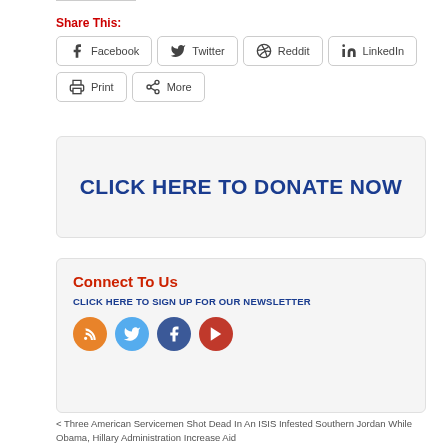Share This:
[Figure (infographic): Social share buttons: Facebook, Twitter, Reddit, LinkedIn, Print, More]
[Figure (infographic): CLICK HERE TO DONATE NOW banner in blue bold text on light gray background]
Connect To Us
CLICK HERE TO SIGN UP FOR OUR NEWSLETTER
[Figure (infographic): Social media icons: RSS (orange), Twitter (light blue), Facebook (dark blue), YouTube (dark red)]
< Three American Servicemen Shot Dead In An ISIS Infested Southern Jordan While Obama, Hillary Administration Increase Aid